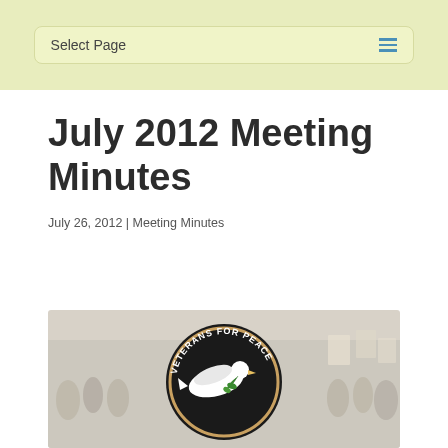Select Page
July 2012 Meeting Minutes
July 26, 2012 | Meeting Minutes
[Figure (illustration): Veterans for Peace logo — a white dove holding an olive branch on a black circular badge with protest crowd background]